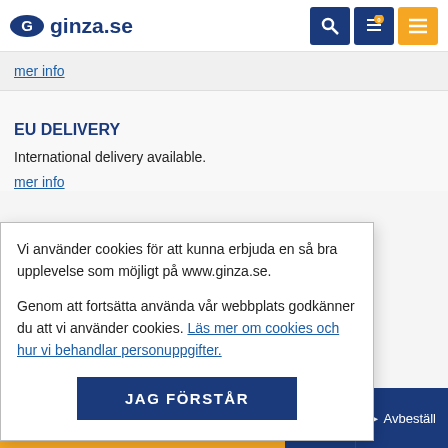ginza.se
mer info
EU DELIVERY
International delivery available.
mer info
Vi använder cookies för att kunna erbjuda en så bra upplevelse som möjligt på www.ginza.se.
Genom att fortsätta använda vår webbplats godkänner du att vi använder cookies. Läs mer om cookies och hur vi behandlar personuppgifter.
JAG FÖRSTÅR
e nyheterna och
STÄLL  ▶ Avbeställ